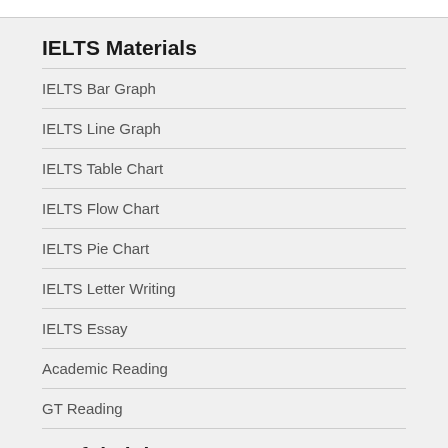IELTS Materials
IELTS Bar Graph
IELTS Line Graph
IELTS Table Chart
IELTS Flow Chart
IELTS Pie Chart
IELTS Letter Writing
IELTS Essay
Academic Reading
GT Reading
Useful Links
Know IELTS